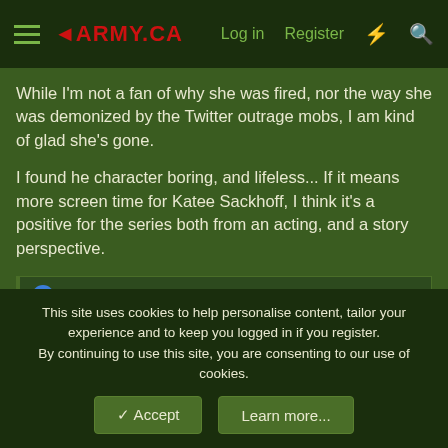ARMY.CA — Log in | Register
While I'm not a fan of why she was fired, nor the way she was demonized by the Twitter outrage mobs, I am kind of glad she's gone.

I found he character boring, and lifeless... If it means more screen time for Katee Sackhoff, I think it's a positive for the series both from an acting, and a story perspective.
dimsum
Cdn Blackshirt
Army.ca Veteran
This site uses cookies to help personalise content, tailor your experience and to keep you logged in if you register.
By continuing to use this site, you are consenting to our use of cookies.